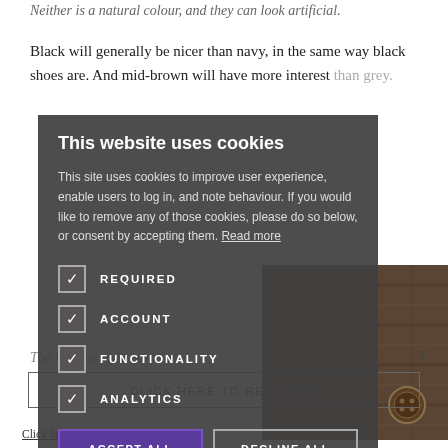Neither is a natural colour, and they can look artificial.
Black will generally be nicer than navy, in the same way black shoes are. And mid-brown will have more interest than grey.
[Figure (photo): Close-up photo of a dark grey/brown textured tweed or wool fabric with a button visible]
The Italians style no-sele
CLICK HERE TO REGISTER
x
Click here to read our Privacy Policy
This website uses cookies
This site uses cookies to improve user experience, enable users to log in, and note behaviour. If you would like to remove any of those cookies, please do so below, or consent by accepting them. Read more
REQUIRED
ACCOUNT
FUNCTIONALITY
ANALYTICS
ACCEPT ALL
DECLINE ALL